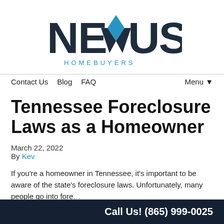[Figure (logo): Nexus Homebuyers logo — large dark stylized text NEXUS with a cyan/blue angular X shape, and HOMEBUYERS in spaced cyan capitals below]
Contact Us  Blog  FAQ  Menu ▼
Tennessee Foreclosure Laws as a Homeowner
March 22, 2022
By Kev
If you're a homeowner in Tennessee, it's important to be aware of the state's foreclosure laws. Unfortunately, many people go into fore…
Call Us! (865) 999-0025